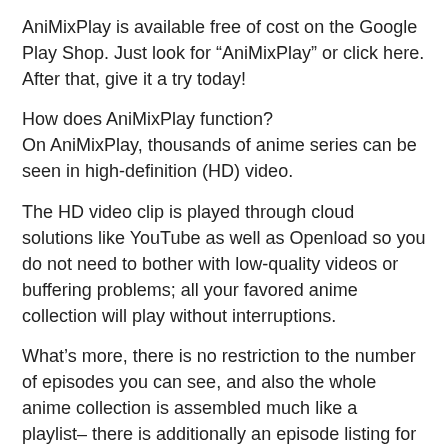AniMixPlay is available free of cost on the Google Play Shop. Just look for “AniMixPlay” or click here. After that, give it a try today!
How does AniMixPlay function?
On AniMixPlay, thousands of anime series can be seen in high-definition (HD) video.
The HD video clip is played through cloud solutions like YouTube as well as Openload so you do not need to bother with low-quality videos or buffering problems; all your favored anime collection will play without interruptions.
What’s more, there is no restriction to the number of episodes you can see, and also the whole anime collection is assembled much like a playlist– there is additionally an episode listing for you to see which episode you’re up to.